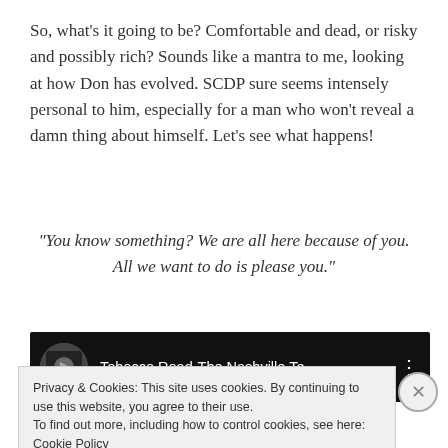So, what's it going to be? Comfortable and dead, or risky and possibly rich? Sounds like a mantra to me, looking at how Don has evolved. SCDP sure seems intensely personal to him, especially for a man who won't reveal a damn thing about himself. Let's see what happens!
“You know something? We are all here because of you. All we want to do is please you.”
[Figure (screenshot): YouTube video thumbnail bar showing 'Tobacco Road-The Nashville Te...' with a dark background and channel icon]
Privacy & Cookies: This site uses cookies. By continuing to use this website, you agree to their use.
To find out more, including how to control cookies, see here: Cookie Policy
Close and accept